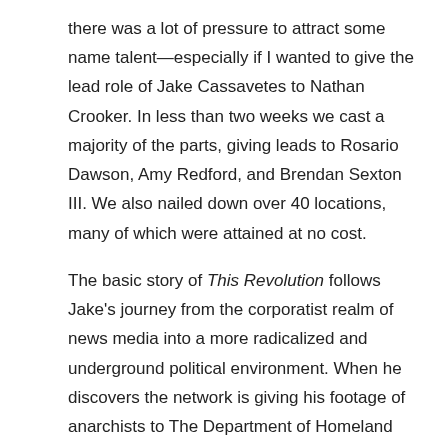there was a lot of pressure to attract some name talent—especially if I wanted to give the lead role of Jake Cassavetes to Nathan Crooker. In less than two weeks we cast a majority of the parts, giving leads to Rosario Dawson, Amy Redford, and Brendan Sexton III. We also nailed down over 40 locations, many of which were attained at no cost.

The basic story of This Revolution follows Jake's journey from the corporatist realm of news media into a more radicalized and underground political environment. When he discovers the network is giving his footage of anarchists to The Department of Homeland Security, Jake is forced to take sides and decide whether he should risk his social and financial security in order to take revenge against the system that has betrayed him. His moment of personal revolution is inspired by that of Rosario Dawson's character Tina, who has chosen the radical anarchist Black Bloc movement as a means of channeling her rage at the government for taking her